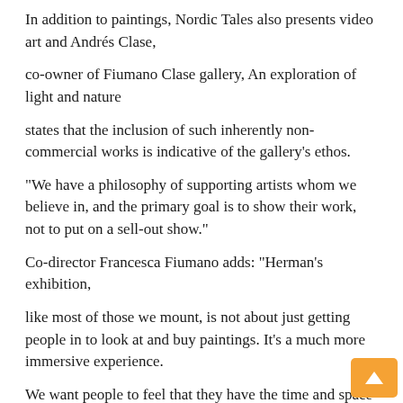In addition to paintings, Nordic Tales also presents video art and Andrés Clase,
co-owner of Fiumano Clase gallery, An exploration of light and nature
states that the inclusion of such inherently non-commercial works is indicative of the gallery's ethos.
“We have a philosophy of supporting artists whom we believe in, and the primary goal is to show their work, not to put on a sell-out show.”
Co-director Francesca Fiumano adds: “Herman’s exhibition,
like most of those we mount, is not about just getting people in to look at and buy paintings. It’s a much more immersive experience.
We want people to feel that they have the time and space to really connect with the work, and to look at it in a different way.”
For more information: □□□□□□□□□